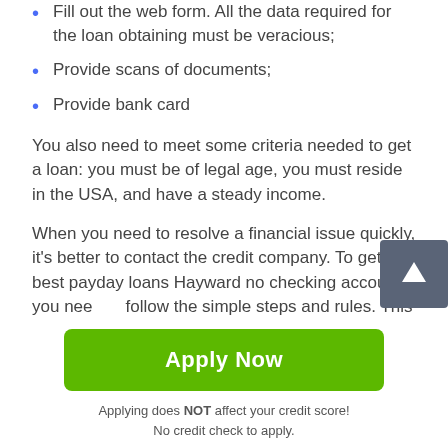Fill out the web form. All the data required for the loan obtaining must be veracious;
Provide scans of documents;
Provide bank card
You also need to meet some criteria needed to get a loan: you must be of legal age, you must reside in the USA, and have a steady income.
When you need to resolve a financial issue quickly, it's better to contact the credit company. To get the best payday loans Hayward no checking account, you need follow the simple steps and rules. This will minimize the probability of refusal, and you will take the necessary
Apply Now
Applying does NOT affect your credit score!
No credit check to apply.